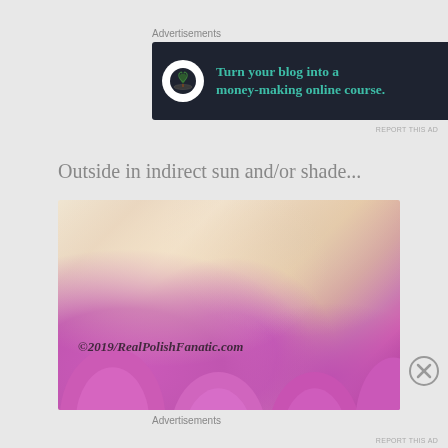Advertisements
[Figure (screenshot): Dark navy advertisement banner with bonsai tree icon, text 'Turn your blog into a money-making online course.' and a right arrow]
REPORT THIS AD
Outside in indirect sun and/or shade...
[Figure (photo): Close-up photo of fingers with pink/magenta nail polish, watermark reads ©2019/RealPolishFanatic.com]
Advertisements
REPORT THIS AD